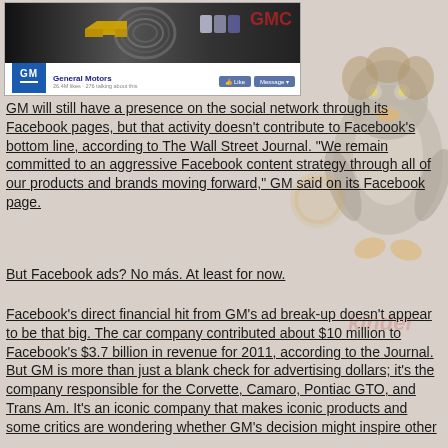[Figure (screenshot): General Motors Facebook page screenshot showing GM logo, cover photo with car brand logos (Chevrolet bowtie, Buick logo), GM page name, like and message buttons]
GM will still have a presence on the social network through its Facebook pages, but that activity doesn't contribute to Facebook's bottom line, according to The Wall Street Journal. "We remain committed to an aggressive Facebook content strategy through all of our products and brands moving forward," GM said on its Facebook page.
But Facebook ads? No más. At least for now.
Facebook's direct financial hit from GM's ad break-up doesn't appear to be that big. The car company contributed about $10 million to Facebook's $3.7 billion in revenue for 2011, according to the Journal. But GM is more than just a blank check for advertising dollars; it's the company responsible for the Corvette, Camaro, Pontiac GTO, and Trans Am. It's an iconic company that makes iconic products and some critics are wondering whether GM's decision might inspire other